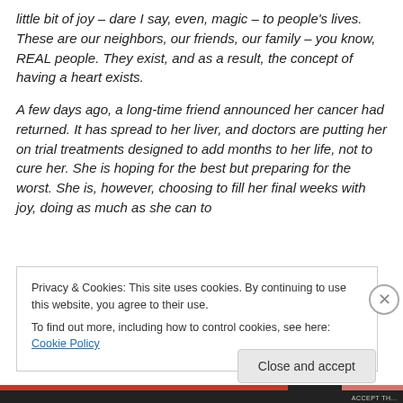little bit of joy – dare I say, even, magic – to people's lives. These are our neighbors, our friends, our family – you know, REAL people. They exist, and as a result, the concept of having a heart exists.
A few days ago, a long-time friend announced her cancer had returned. It has spread to her liver, and doctors are putting her on trial treatments designed to add months to her life, not to cure her. She is hoping for the best but preparing for the worst. She is, however, choosing to fill her final weeks with joy, doing as much as she can to
Privacy & Cookies: This site uses cookies. By continuing to use this website, you agree to their use.
To find out more, including how to control cookies, see here: Cookie Policy